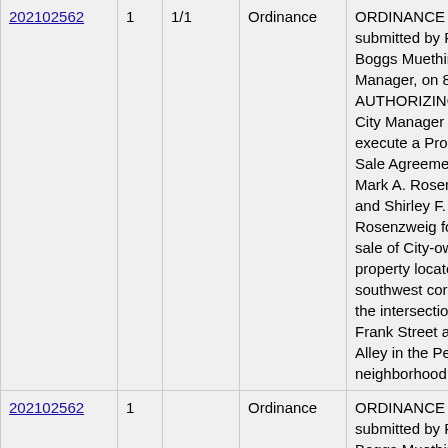| ID | # | Ver | Type | Description | Status |
| --- | --- | --- | --- | --- | --- |
| 202102562 | 1 | 1/1 | Ordinance | ORDINANCE submitted by Paula Boggs Muething, City Manager, on 8/4/2021, AUTHORIZING the City Manager to execute a Property Sale Agreement with Mark A. Rosenzweig and Shirley F. Rosenzweig for the sale of City-owned real property located at the southwest corner of the intersection of Frank Street and Artist Alley in the Pendleton neighborhood. | Passed |
| 202102562 | 1 |  | Ordinance | ORDINANCE submitted by Paula Boggs Muething, City Manager, on 8/4/2021, AUTHORIZING the City Manager to execute a Property Sale Agreement with Mark A. Rosenzweig | Suspe... the th... readi... |